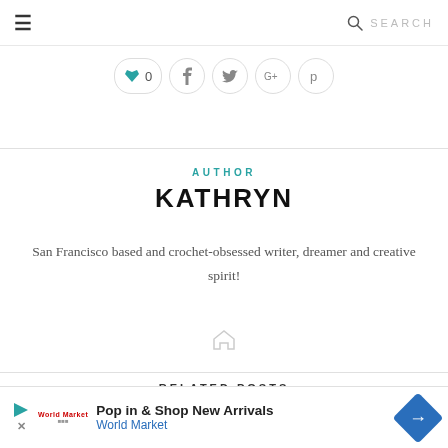≡  SEARCH
[Figure (other): Social share buttons row: vote/heart button with count, Facebook, Twitter, Google+, and Pinterest circular icon buttons]
AUTHOR
KATHRYN
San Francisco based and crochet-obsessed writer, dreamer and creative spirit!
[Figure (other): Small grey home icon]
RELATED POSTS
[Figure (other): Advertisement banner: Pop in & Shop New Arrivals - World Market, with play icon, World Market logo, and a blue diamond arrow icon]